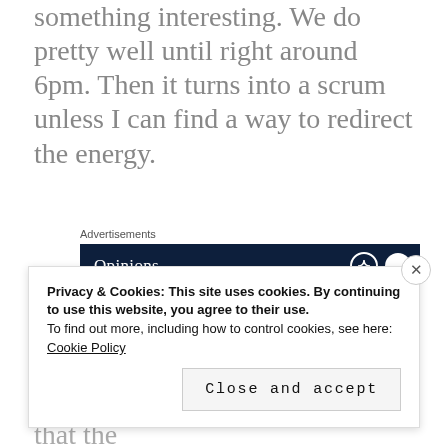something interesting. We do pretty well until right around 6pm. Then it turns into a scrum unless I can find a way to redirect the energy.
[Figure (screenshot): Advertisement banner with dark navy background showing 'Opinions' text in white with circular icons on the right]
What I find fascinating is that corresponds with about the same time of day that the
Privacy & Cookies: This site uses cookies. By continuing to use this website, you agree to their use.
To find out more, including how to control cookies, see here:
Cookie Policy
Close and accept